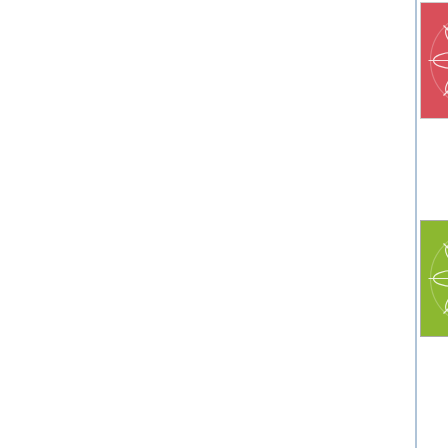[Figure (illustration): Red avatar with geometric flower/snowflake pattern on pink/red background]
Bite your tongue, Rick--

Niters.
[Figure (illustration): Green avatar with geometric flower/snowflake pattern on green background]
Gulp
Government bond pric... investors ditched low-... heavily oversold share... gains overnight. In a s... stocks added $1.7 trill... MSCI.
But, but, but - They told me th... that the stock market was fini... move into a cave.
Gosh, maybe I better sell my... all gone.
Or maybe it's a big bear trap.
Po...